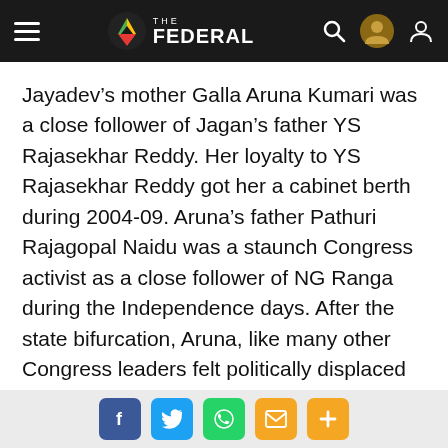THE FEDERAL
Jayadev’s mother Galla Aruna Kumari was a close follower of Jagan’s father YS Rajasekhar Reddy. Her loyalty to YS Rajasekhar Reddy got her a cabinet berth during 2004-09. Aruna’s father Pathuri Rajagopal Naidu was a staunch Congress activist as a close follower of NG Ranga during the Independence days. After the state bifurcation, Aruna, like many other Congress leaders felt politically displaced with the decimation of the Congress party in Andhra, and switched to the TDP.
Share buttons: Facebook, Twitter, WhatsApp, Email, More